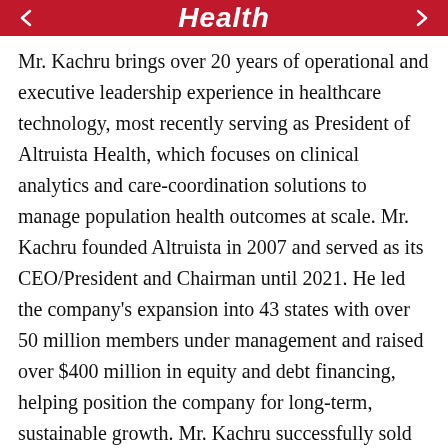Health
Mr. Kachru brings over 20 years of operational and executive leadership experience in healthcare technology, most recently serving as President of Altruista Health, which focuses on clinical analytics and care-coordination solutions to manage population health outcomes at scale. Mr. Kachru founded Altruista in 2007 and served as its CEO/President and Chairman until 2021. He led the company's expansion into 43 states with over 50 million members under management and raised over $400 million in equity and debt financing, helping position the company for long-term, sustainable growth. Mr. Kachru successfully sold Altruista to HealthEdge, a Blackstone portfolio company, in December 2020.
This month, DataLink released a white paper